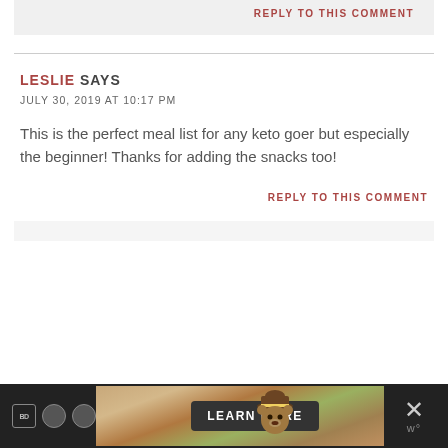REPLY TO THIS COMMENT
LESLIE SAYS
JULY 30, 2019 AT 10:17 PM
This is the perfect meal list for any keto goer but especially the beginner! Thanks for adding the snacks too!
REPLY TO THIS COMMENT
[Figure (screenshot): Advertisement banner at bottom: dark background with bear mascot wearing ranger hat, LEARN MORE button, and close X icon]